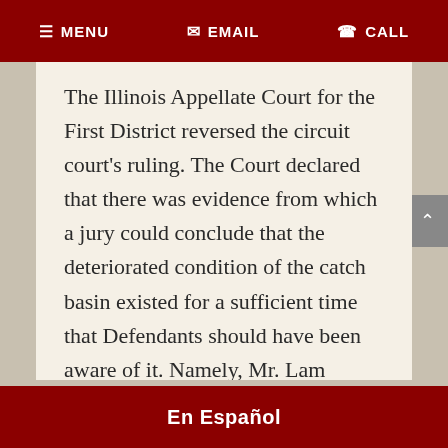≡ MENU   ✉ EMAIL   ✆ CALL
The Illinois Appellate Court for the First District reversed the circuit court's ruling. The Court declared that there was evidence from which a jury could conclude that the deteriorated condition of the catch basin existed for a sufficient time that Defendants should have been aware of it. Namely, Mr. Lam testified that he regularly inspected the backyard and he was aware of the catch basin but had never inspected or maintained the
En Español